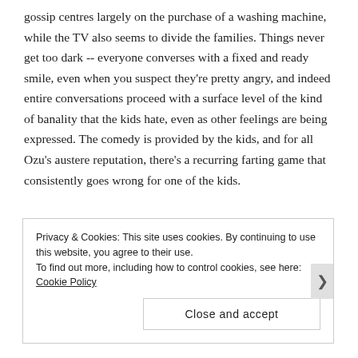gossip centres largely on the purchase of a washing machine, while the TV also seems to divide the families. Things never get too dark -- everyone converses with a fixed and ready smile, even when you suspect they're pretty angry, and indeed entire conversations proceed with a surface level of the kind of banality that the kids hate, even as other feelings are being expressed. The comedy is provided by the kids, and for all Ozu's austere reputation, there's a recurring farting game that consistently goes wrong for one of the kids.
Privacy & Cookies: This site uses cookies. By continuing to use this website, you agree to their use.
To find out more, including how to control cookies, see here: Cookie Policy
Close and accept